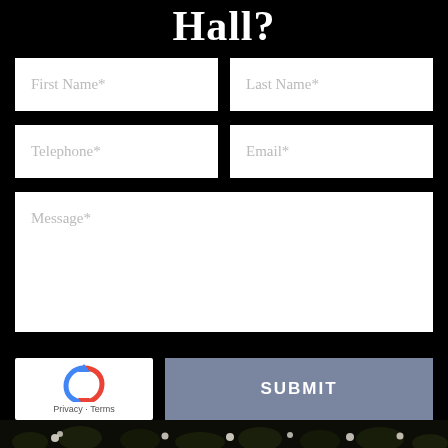Hall?
First Name*
Last Name*
Telephone*
Email*
Message*
[Figure (logo): reCAPTCHA widget with blue/red arrow icon and Privacy - Terms text]
SUBMIT